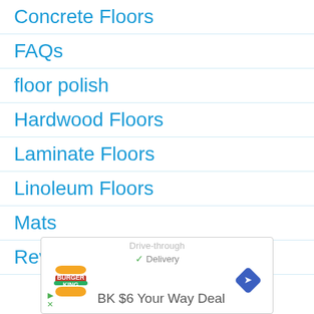Concrete Floors
FAQs
floor polish
Hardwood Floors
Laminate Floors
Linoleum Floors
Mats
Reviews
[Figure (screenshot): Advertisement banner for Burger King BK $6 Your Way Deal with drive-through and delivery options and navigation arrow icon]